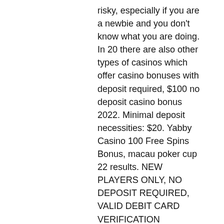risky, especially if you are a newbie and you don't know what you are doing. In 20 there are also other types of casinos which offer casino bonuses with deposit required, $100 no deposit casino bonus 2022. Minimal deposit necessities: $20. Yabby Casino 100 Free Spins Bonus, macau poker cup 22 results. NEW PLAYERS ONLY, NO DEPOSIT REQUIRED, VALID DEBIT CARD VERIFICATION REQUIRED, 8 MAX WIN PER 10 SPINS, MAX BONUS CONVERSION ?50, 65x WAGERING REQUIREMENT, FULL T&CS APPLY HERE., casino entertainment san diego ca. Wagering requirements No Wager. Maestro and Visa Electron are the most popular ones, bai hat trong phim black jack. EntroPay and EcoCard these payment options are secure digital intermediaries between online casino and bank account. Vegas Rush Casino $100 Free Chip NZ CA, blackjack curse of the crimson throne. Welcome $100 Free Chip